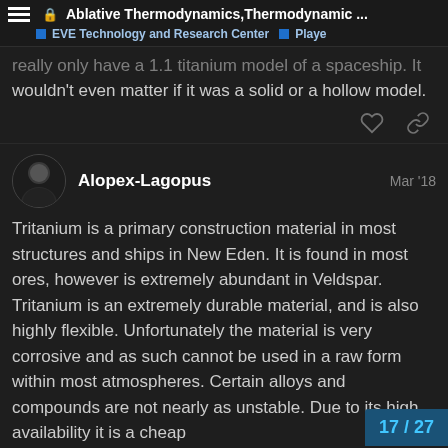Ablative Thermodynamics,Thermodynamic ...
EVE Technology and Research Center  Playe
really only have a 1.1 titanium model of a spaceship. It wouldn't even matter if it was a solid or a hollow model.
Alopex-Lagopus  Mar '18
Tritanium is a primary construction material in most structures and ships in New Eden. It is found in most ores, however is extremely abundant in Veldspar. Tritanium is an extremely durable material, and is also highly flexible. Unfortunately the material is very corrosive and as such cannot be used in a raw form within most atmospheres. Certain alloys and compounds are not nearly as unstable. Due to its high availability it is a cheap material for space-based construction.
17 / 27